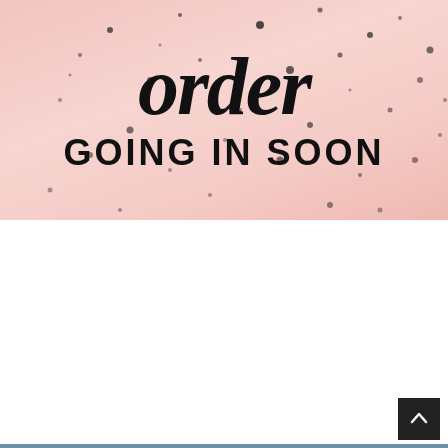[Figure (infographic): Pink speckled background with cursive 'order' text and bold sans-serif 'GOING IN SOON' text below]
[Figure (infographic): Steel blue background with 'FIRMING CREAM' bold white text and two before/after body photos showing buttocks in blue athletic shorts]